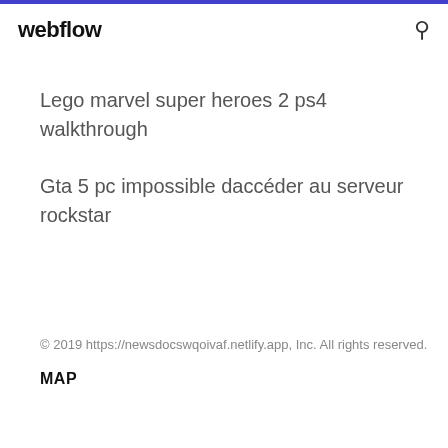webflow
Lego marvel super heroes 2 ps4 walkthrough
Gta 5 pc impossible daccéder au serveur rockstar
© 2019 https://newsdocswqoivaf.netlify.app, Inc. All rights reserved.
MAP